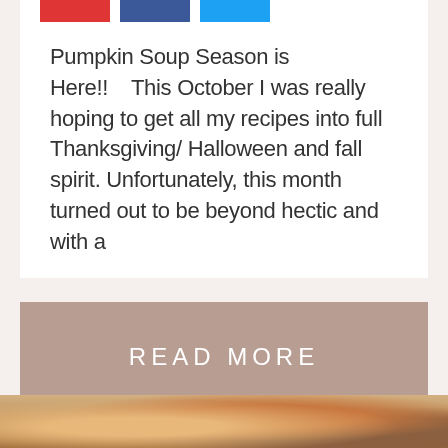[Figure (other): Three social share buttons: red, dark blue, and light blue]
Pumpkin Soup Season is Here!!    This October I was really hoping to get all my recipes into full Thanksgiving/ Halloween and fall spirit. Unfortunately, this month turned out to be beyond hectic and with a
READ MORE
[Figure (photo): Close-up photo of food items, appears to be fried or roasted food pieces with toothpicks]